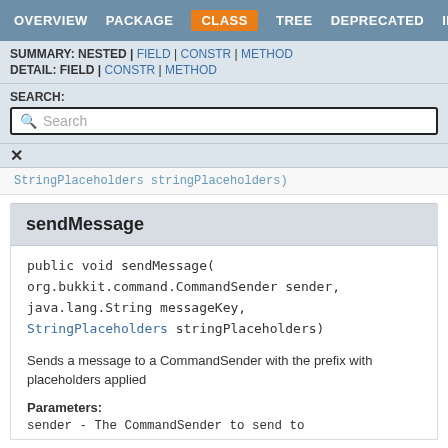OVERVIEW | PACKAGE | CLASS | TREE | DEPRECATED | INDEX
SUMMARY: NESTED | FIELD | CONSTR | METHOD
DETAIL: FIELD | CONSTR | METHOD
SEARCH:
Search
StringPlaceholders stringPlaceholders)
sendMessage
public void sendMessage(
org.bukkit.command.CommandSender sender,
java.lang.String messageKey,
StringPlaceholders stringPlaceholders)
Sends a message to a CommandSender with the prefix with placeholders applied
Parameters:
sender - The CommandSender to send to